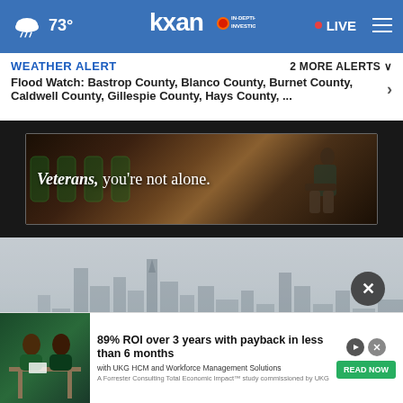73° KXAN IN-DEPTH INVESTIGATIVE • LIVE
WEATHER ALERT   2 MORE ALERTS ∨
Flood Watch: Bastrop County, Blanco County, Burnet County, Caldwell County, Gillespie County, Hays County, ...
[Figure (photo): Advertisement banner: Veterans, you're not alone. Shows a person with head down at a table.]
[Figure (photo): Hazy city skyline image with tall buildings barely visible through heavy smog or fog.]
[Figure (photo): Bottom advertisement: 89% ROI over 3 years with payback in less than 6 months with UKG HCM and Workforce Management Solutions. READ NOW button.]